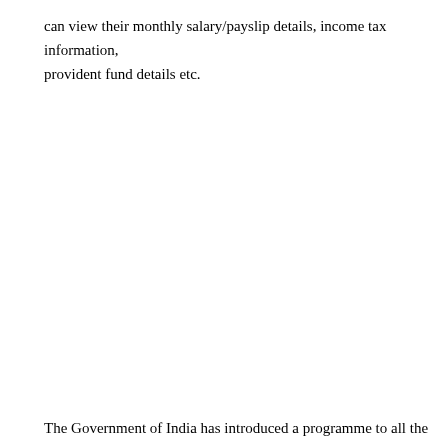can view their monthly salary/payslip details, income tax information, provident fund details etc.
The Government of India has introduced a programme to all the